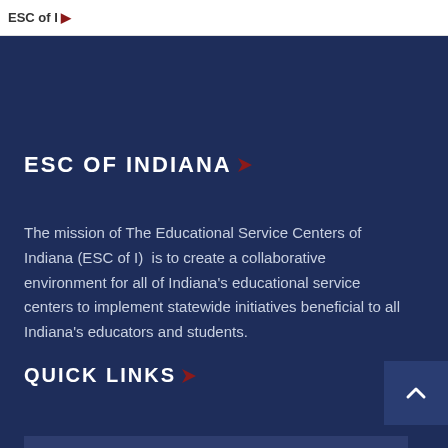ESC of Indiana
ESC OF INDIANA
The mission of The Educational Service Centers of Indiana (ESC of I) is to create a collaborative environment for all of Indiana’s educational service centers to implement statewide initiatives beneficial to all Indiana’s educators and students.
QUICK LINKS
GEER